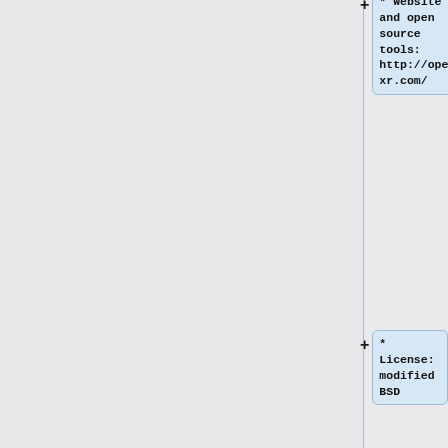* Website and open source tools: http://openexr.com/
* License: modified BSD
* http://en.wikipedia.org/wiki/OpenEXR
* Sources: [http://cinepaint.cvs.sourceforge.net/cinepaint/cinepaint-project/OpenEXR/